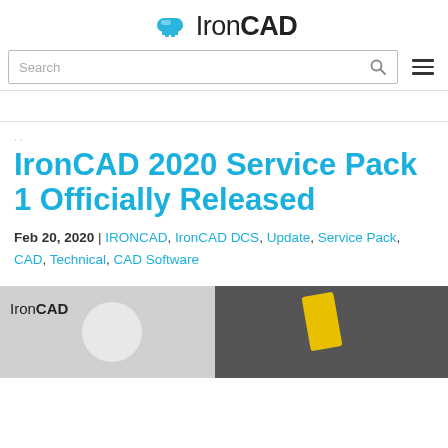IronCAD
[Figure (logo): IronCAD logo with anvil/magnet icon and text 'IronCAD' in bold]
Search
IronCAD 2020 Service Pack 1 Officially Released
Feb 20, 2020 | IRONCAD, IronCAD DCS, Update, Service Pack, CAD, Technical, CAD Software
[Figure (photo): IronCAD banner image showing motorcycle engine parts with IronCAD logo overlay]